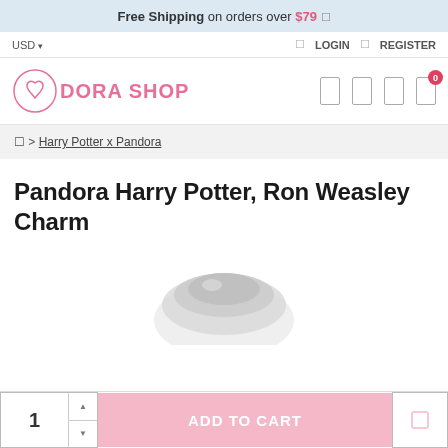Free Shipping on orders over $79
USD | LOGIN | REGISTER
[Figure (logo): Dora Shop logo with pink heart icon and pink text]
🏠 > Harry Potter x Pandora
Pandora Harry Potter, Ron Weasley Charm
[Figure (photo): Partial view of a silver charm product]
1  ADD TO CART